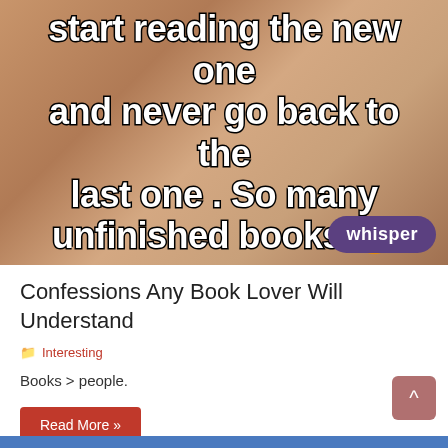[Figure (photo): A Whisper meme image with bold white text outlined in black over a brownish background showing a person. Text reads: 'start reading the new one and never go back to the last one . So many unfinished books 😁' with a 'whisper' badge in the bottom right corner.]
Confessions Any Book Lover Will Understand
Interesting
Books > people.
Read More »